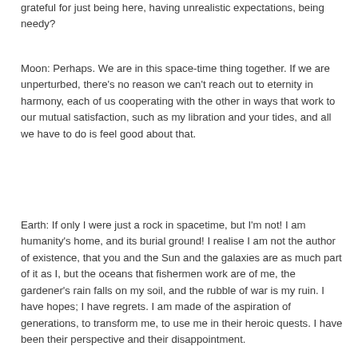grateful for just being here, having unrealistic expectations, being needy?
Moon: Perhaps. We are in this space-time thing together. If we are unperturbed, there's no reason we can't reach out to eternity in harmony, each of us cooperating with the other in ways that work to our mutual satisfaction, such as my libration and your tides, and all we have to do is feel good about that.
Earth: If only I were just a rock in spacetime, but I'm not! I am humanity's home, and its burial ground! I realise I am not the author of existence, that you and the Sun and the galaxies are as much part of it as I, but the oceans that fishermen work are of me, the gardener's rain falls on my soil, and the rubble of war is my ruin. I have hopes; I have regrets. I am made of the aspiration of generations, to transform me, to use me in their heroic quests. I have been their perspective and their disappointment.